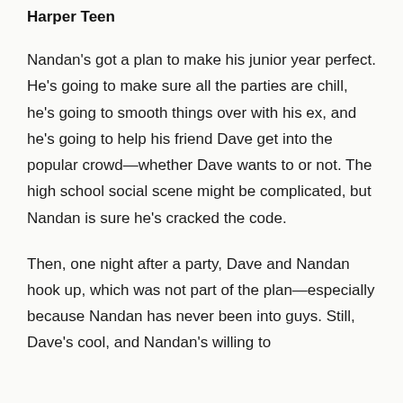Harper Teen
Nandan's got a plan to make his junior year perfect. He's going to make sure all the parties are chill, he's going to smooth things over with his ex, and he's going to help his friend Dave get into the popular crowd—whether Dave wants to or not. The high school social scene might be complicated, but Nandan is sure he's cracked the code.
Then, one night after a party, Dave and Nandan hook up, which was not part of the plan—especially because Nandan has never been into guys. Still, Dave's cool, and Nandan's willing to